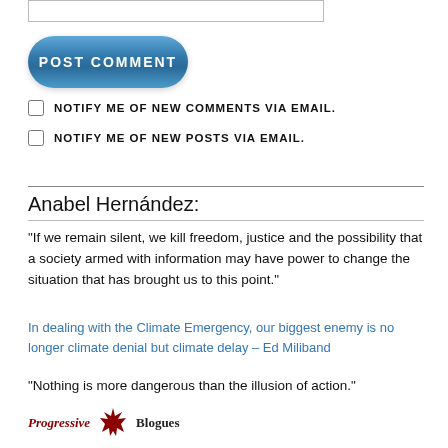[Figure (screenshot): Text input box (form field)]
[Figure (screenshot): Blue rounded POST COMMENT button]
NOTIFY ME OF NEW COMMENTS VIA EMAIL.
NOTIFY ME OF NEW POSTS VIA EMAIL.
Anabel Hernández:
"If we remain silent, we kill freedom, justice and the possibility that a society armed with information may have power to change the situation that has brought us to this point."
In dealing with the Climate Emergency, our biggest enemy is no longer climate denial but climate delay – Ed Miliband
“Nothing is more dangerous than the illusion of action.”
[Figure (logo): Progressive Blogues logo with maple leaf]